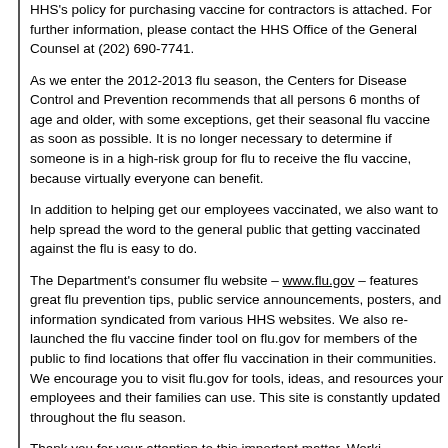HHS's policy for purchasing vaccine for contractors is attached. For further information, please contact the HHS Office of the General Counsel at (202) 690-7741.
As we enter the 2012-2013 flu season, the Centers for Disease Control and Prevention recommends that all persons 6 months of age and older, with some exceptions, get their seasonal flu vaccine as soon as possible. It is no longer necessary to determine if someone is in a high-risk group for flu to receive the flu vaccine, because virtually everyone can benefit.
In addition to helping get our employees vaccinated, we also want to help spread the word to the general public that getting vaccinated against the flu is easy to do.
The Department's consumer flu website – www.flu.gov – features great flu prevention tips, public service announcements, posters, and information syndicated from various HHS websites. We also re-launched the flu vaccine finder tool on flu.gov for members of the public to find locations that offer flu vaccination in their communities. We encourage you to visit flu.gov for tools, ideas, and resources your employees and their families can use. This site is constantly updated throughout the flu season.
Thank you for your attention to this important matter. Worki